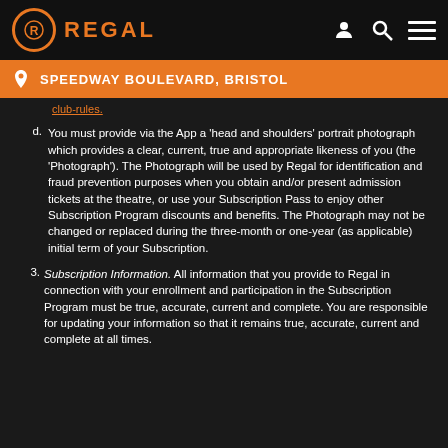REGAL
SPEEDWAY BOULEVARD, BRISTOL
club-rules.
d. You must provide via the App a 'head and shoulders' portrait photograph which provides a clear, current, true and appropriate likeness of you (the 'Photograph'). The Photograph will be used by Regal for identification and fraud prevention purposes when you obtain and/or present admission tickets at the theatre, or use your Subscription Pass to enjoy other Subscription Program discounts and benefits. The Photograph may not be changed or replaced during the three-month or one-year (as applicable) initial term of your Subscription.
3. Subscription Information. All information that you provide to Regal in connection with your enrollment and participation in the Subscription Program must be true, accurate, current and complete. You are responsible for updating your information so that it remains true, accurate, current and complete at all times.